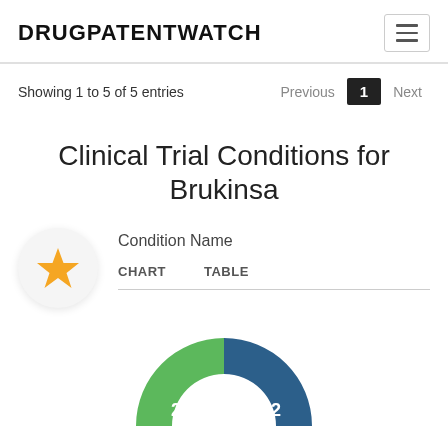DRUGPATENTWATCH
Showing 1 to 5 of 5 entries
Clinical Trial Conditions for Brukinsa
Condition Name
CHART  TABLE
[Figure (donut-chart): Condition Name]